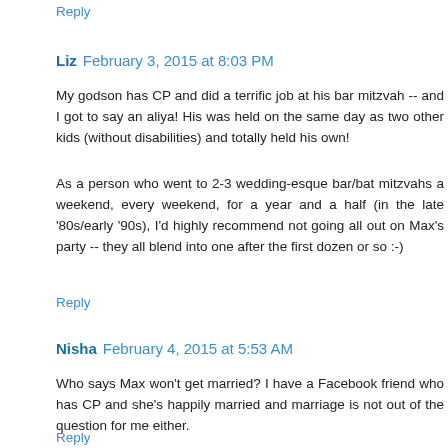Reply
Liz  February 3, 2015 at 8:03 PM
My godson has CP and did a terrific job at his bar mitzvah -- and I got to say an aliya! His was held on the same day as two other kids (without disabilities) and totally held his own!
As a person who went to 2-3 wedding-esque bar/bat mitzvahs a weekend, every weekend, for a year and a half (in the late '80s/early '90s), I'd highly recommend not going all out on Max's party -- they all blend into one after the first dozen or so :-)
Reply
Nisha  February 4, 2015 at 5:53 AM
Who says Max won't get married? I have a Facebook friend who has CP and she's happily married and marriage is not out of the question for me either.
Reply